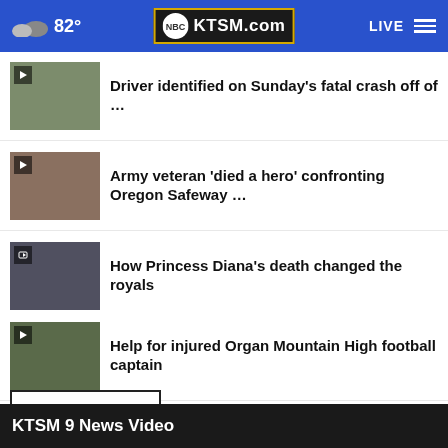82° KTSM.com LIVE
Driver identified on Sunday's fatal crash off of …
Army veteran 'died a hero' confronting Oregon Safeway …
How Princess Diana's death changed the royals
Help for injured Organ Mountain High football captain
More Stories ▸
KTSM 9 News Video